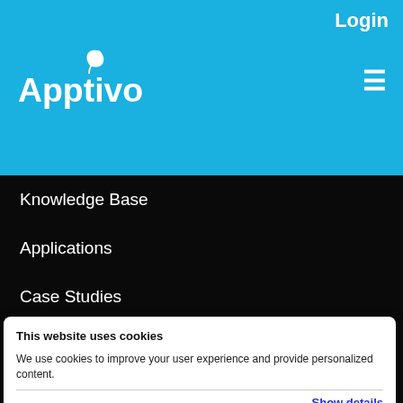Login
[Figure (logo): Apptivo logo with leaf icon on blue background]
Knowledge Base
Applications
Case Studies
Reviews
FAQ
This website uses cookies
We use cookies to improve your user experience and provide personalized content.
Show details
Manage Preferences
Accept all cookies